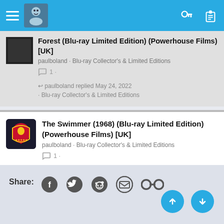Navigation bar with hamburger menu, avatar, key icon, clipboard icon
Forest (Blu-ray Limited Edition) (Powerhouse Films) [UK]
paulboland · Blu-ray Collector's & Limited Editions
1 comment
paulboland replied May 24, 2022 · Blu-ray Collector's & Limited Editions
The Swimmer (1968) (Blu-ray Limited Edition) (Powerhouse Films) [UK]
paulboland · Blu-ray Collector's & Limited Editions
1 comment
paulboland replied May 24, 2022 · Blu-ray Collector's & Limited Editions
Share: Facebook Twitter Reddit Email Link